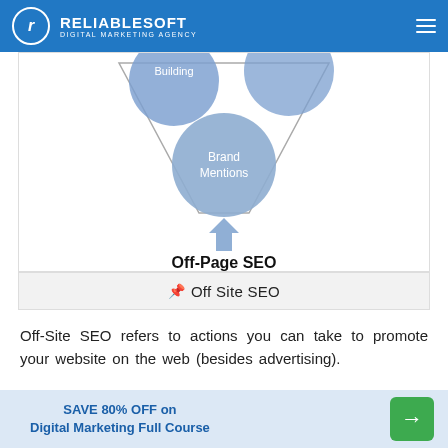RELIABLESOFT DIGITAL MARKETING AGENCY
[Figure (infographic): Partial funnel diagram showing 'Building' and 'Brand Mentions' circles converging into a funnel, with a blue arrow pointing down to 'Off-Page SEO' label]
Off Site SEO
Off-Site SEO refers to actions you can take to promote your website on the web (besides advertising).
SAVE 80% OFF on Digital Marketing Full Course